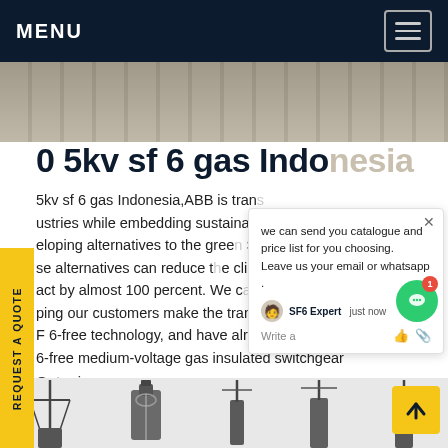MENU
[Figure (photo): Hero banner image showing a deck or platform surface with metal railings and shadow patterns]
0 5kv sf 6 gas Indonesia
5kv sf 6 gas Indonesia,ABB is transforming industries while embedding sustainability across our industries while embedding sustainability. developing alternatives to the greenhouse gas SF 6. These alternatives can reduce the climate impact by almost 100 percent. We can be helping our customers make the transition from SF 6 to SF 6-free technology, and have already provided SF 6-free medium-voltage gas insulated switchgear
Get price
[Figure (screenshot): Chat popup overlay: 'we can send you catalogue and price list for you choosing. Leave us your email or whatsapp.' with SF6 Expert avatar, just now label, Write a message input with thumbs up and attachment icons]
[Figure (photo): Bottom strip showing electrical equipment silhouettes including switchgear and transformers]
REQUEST A QUOTE